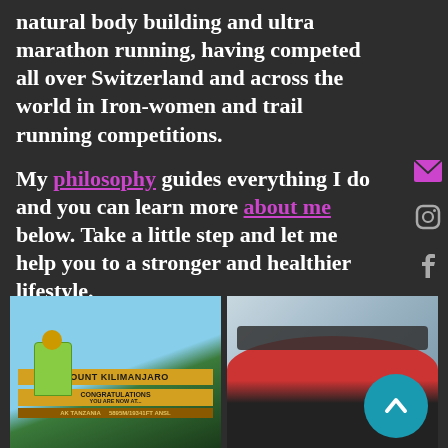natural body building and ultra marathon running, having competed all over Switzerland and across the world in Iron-women and trail running competitions.

My philosophy guides everything I do and you can learn more about me below. Take a little step and let me help you to a stronger and healthier lifestyle.
[Figure (photo): Photo of a person standing at the Mount Kilimanjaro summit sign in Tanzania with CONGRATULATIONS text, wearing green jacket]
[Figure (photo): Close-up photo of a person wearing a red cap and sunglasses with mountains/sky in the background, with a teal circular back-to-top chevron button overlay]